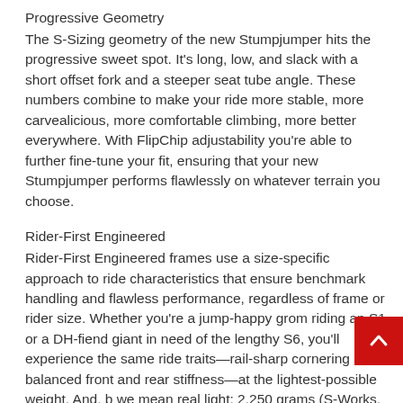Progressive Geometry
The S-Sizing geometry of the new Stumpjumper hits the progressive sweet spot. It’s long, low, and slack with a short offset fork and a steeper seat tube angle. These numbers combine to make your ride more stable, more carvealicious, more comfortable climbing, more better everywhere. With FlipChip adjustability you’re able to further fine-tune your fit, ensuring that your new Stumpjumper performs flawlessly on whatever terrain you choose.
Rider-First Engineered
Rider-First Engineered frames use a size-specific approach to ride characteristics that ensure benchmark handling and flawless performance, regardless of frame or rider size. Whether you’re a jump-happy grom riding an S1 or a DH-fiend giant in need of the lengthy S6, you’ll experience the same ride traits—rail-sharp cornering and balanced front and rear stiffness—at the lightest-possible weight. And, b we mean real light: 2,250 grams (S-Works, S-3 size, with rear shock).